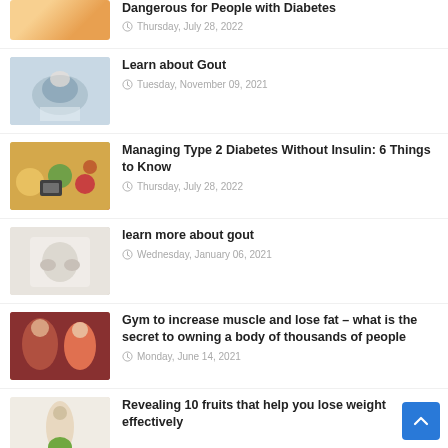[Figure (photo): Partial view of person with orange/food item - diabetes related article thumbnail]
Dangerous for People with Diabetes
Thursday, July 28, 2022
[Figure (photo): Doctor examining patient's foot or hand with stethoscope - gout related article thumbnail]
Learn about Gout
Tuesday, November 09, 2021
[Figure (photo): Fruits, vegetables, blood glucose meter on wooden table - diabetes management article thumbnail]
Managing Type 2 Diabetes Without Insulin: 6 Things to Know
Thursday, July 28, 2022
[Figure (photo): Person in white shirt touching their hands - gout article thumbnail]
learn more about gout
Wednesday, January 06, 2021
[Figure (photo): Fit man and woman in gym - muscle and fat loss article thumbnail]
Gym to increase muscle and lose fat – what is the secret to owning a body of thousands of people
Monday, June 14, 2021
[Figure (photo): Woman holding apple - fruit and weight loss article thumbnail]
Revealing 10 fruits that help you lose weight effectively